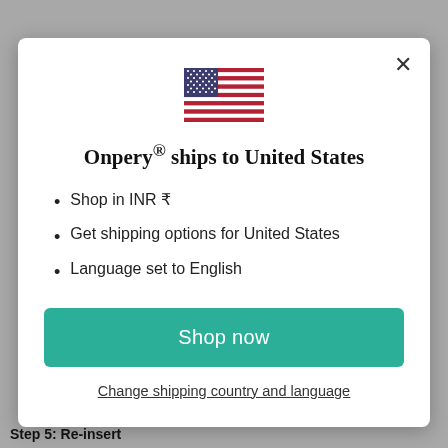[Figure (illustration): US flag emoji centered above title]
Onpery® ships to United States
Shop in INR ₹
Get shipping options for United States
Language set to English
Shop now
Change shipping country and language
Step 5: Re-insert